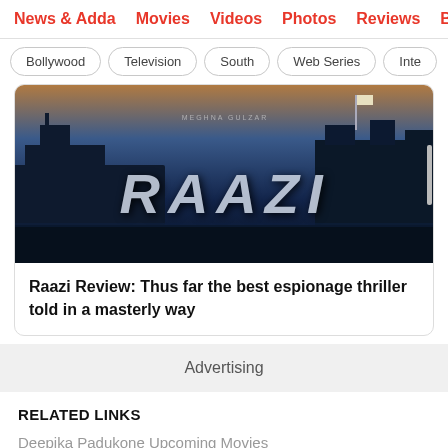News & Adda  Movies  Videos  Photos  Reviews  Bo...
Bollywood
Television
South
Web Series
Inte...
[Figure (photo): Movie poster / banner for Raazi showing warships and military scene with large title text RAAZI]
Raazi Review: Thus far the best espionage thriller told in a masterly way
Advertising
RELATED LINKS
Deepika Padukone Upcoming Movies
Irrfan Khan Complete Movies List